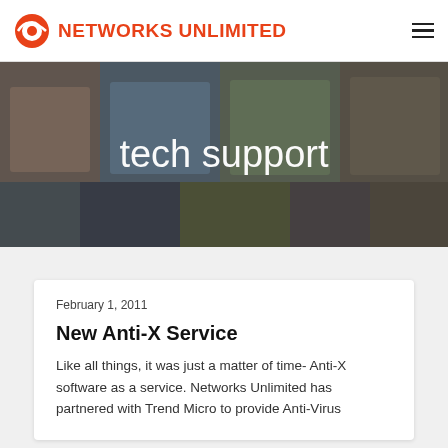NETWORKS UNLIMITED
[Figure (photo): Hero banner image collage showing various professionals at work including office workers, a doctor, and others. Text overlay reads 'tech support'.]
February 1, 2011
New Anti-X Service
Like all things, it was just a matter of time- Anti-X software as a service. Networks Unlimited has partnered with Trend Micro to provide Anti-Virus